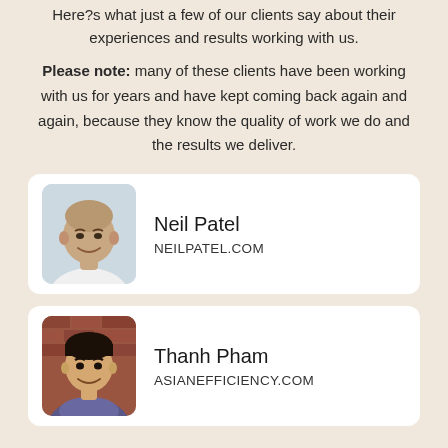Here?s what just a few of our clients say about their experiences and results working with us.
Please note: many of these clients have been working with us for years and have kept coming back again and again, because they know the quality of work we do and the results we deliver.
[Figure (photo): Profile photo of Neil Patel, a bald man smiling, wearing a white shirt against a light background]
Neil Patel
NEILPATEL.COM
[Figure (photo): Profile photo of Thanh Pham, a young Asian man smiling, wearing a scarf, brick wall background]
Thanh Pham
ASIANEFFICIENCY.COM